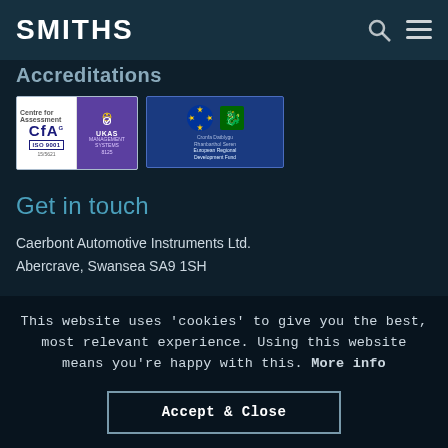SMITHS
Accreditations
[Figure (logo): CfA ISO 9001 UKAS Management Systems certification badge]
[Figure (logo): European Regional Development Fund badge with EU stars and Welsh dragon logo]
Get in touch
Caerbont Automotive Instruments Ltd.
Abercrave, Swansea SA9 1SH
This website uses 'cookies' to give you the best, most relevant experience. Using this website means you're happy with this. More info
Accept & Close